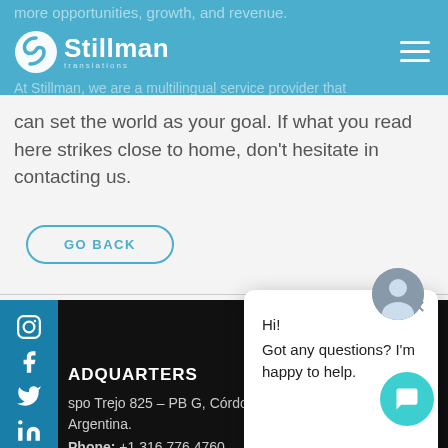more opportunities, growth, and revenue.
[Figure (logo): Stillman translations logo with circular S icon]
At Stillman, we are a multilingual service provider that can set the world as your goal. If what you read here strikes close to home, don't hesitate in contacting us.
GO BACK
ADQUARTERS
spo Trejo 825 – PB G, Córdoba, Argentina.
Phone: +1 316 776 4760
[Figure (screenshot): Chat popup widget with avatar showing Hi! Got any questions? I'm happy to help.]